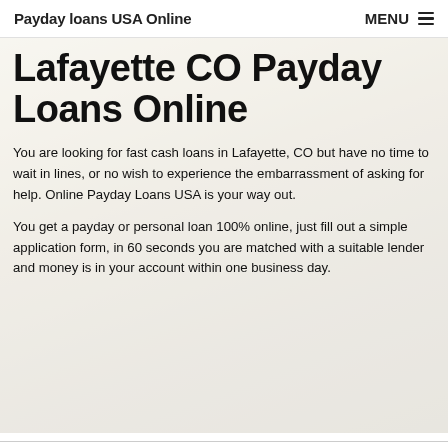Payday loans USA Online | MENU
Lafayette CO Payday Loans Online
You are looking for fast cash loans in Lafayette, CO but have no time to wait in lines, or no wish to experience the embarrassment of asking for help. Online Payday Loans USA is your way out.
You get a payday or personal loan 100% online, just fill out a simple application form, in 60 seconds you are matched with a suitable lender and money is in your account within one business day.